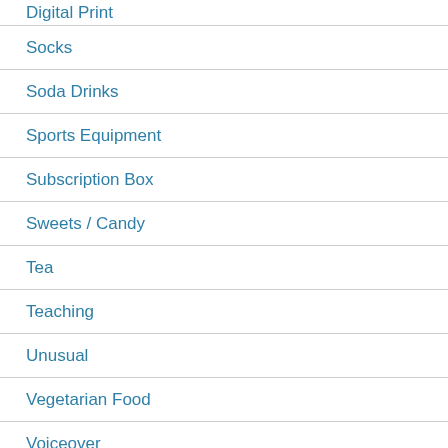Socks
Soda Drinks
Sports Equipment
Subscription Box
Sweets / Candy
Tea
Teaching
Unusual
Vegetarian Food
Voiceover
Website Design